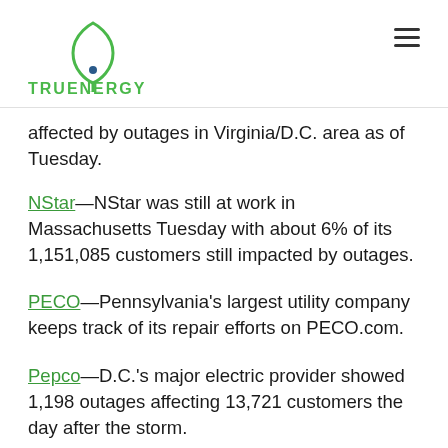TruEnergy logo and navigation
affected by outages in Virginia/D.C. area as of Tuesday.
NStar—NStar was still at work in Massachusetts Tuesday with about 6% of its 1,151,085 customers still impacted by outages.
PECO—Pennsylvania's largest utility company keeps track of its repair efforts on PECO.com.
Pepco—D.C.'s major electric provider showed 1,198 outages affecting 13,721 customers the day after the storm.
PPL—PPL Electric Utilities has almost 400,000